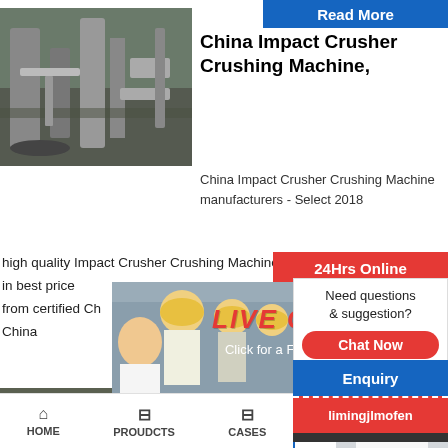Read More
[Figure (photo): Outdoor industrial crusher/mining facility with pipes and machinery]
China Impact Crusher Crushing Machine,
China Impact Crusher Crushing Machine manufacturers - Select 2018 high quality Impact Crusher Crushing Machine products in best price from certified Ch... Water Cooling M... - China
[Figure (photo): Live Chat popup with workers in hard hats and customer service representative]
24Hrs Online
LIVE CHAT
Click for a Free Consultation
Chat now
Chat later
Need questions & suggestion?
Chat Now
Enquiry
limingjlmofen
[Figure (photo): Industrial impact crusher machinery outdoors]
Impact Crusher | Impa... Impact
HOME   PROUDCTS   CASES